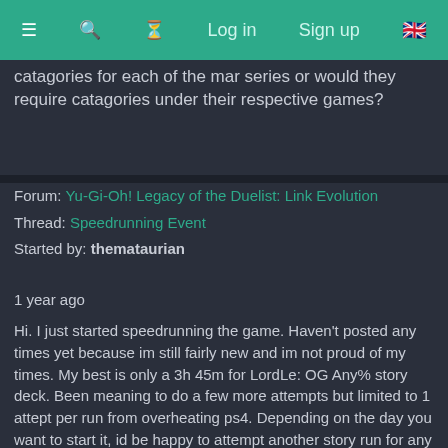≡  🔍  ⏱  Log in  Sign up  🇬🇧
catagories for each of the mar series or would they require catagories under their respective games?
Forum: Yu-Gi-Oh! Legacy of the Duelist: Link Evolution
Thread: Speedrunning Event
Started by: themataurian
1 year ago
Hi. I just started speedrunning the game. Haven't posted any times yet because im still fairly new and im not proud of my times. My best is only a 3h 45m for LordLe: OG Any% story deck. Been meaning to do a few more attempts but limited to 1 attept per run from overheating ps4. Depending on the day you want to start it, id be happy to attempt another story run for any of the first 3 series, ideally the YuGi series.